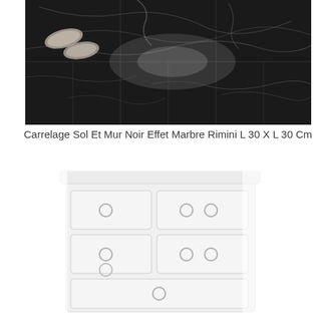[Figure (photo): Dark black marble tile floor with white veining, showing slippers in the top left corner and a reflective polished surface.]
Carrelage Sol Et Mur Noir Effet Marbre Rimini L 30 X L 30 Cm
[Figure (photo): White chest of drawers (commode) with multiple drawers and round ring handles, faded/light appearance on white background.]